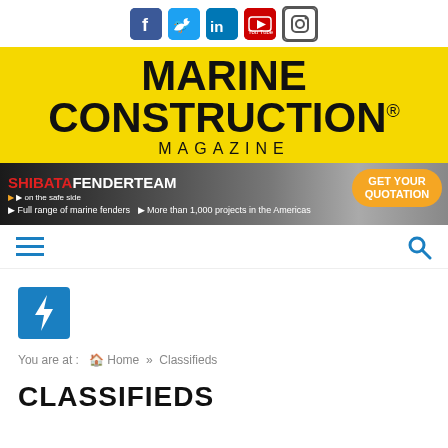[Figure (infographic): Social media icons bar: Facebook (blue), Twitter (blue), LinkedIn (blue), YouTube (red), Instagram (outline)]
MARINE CONSTRUCTION® MAGAZINE
[Figure (infographic): Shibata Fender Team advertisement banner. Text: SHIBATAFENDERTEAM on the safe side | GET YOUR QUOTATION | Full range of marine fenders | More than 1,000 projects in the Americas]
[Figure (infographic): Navigation bar with hamburger menu (3 blue lines) on left and search icon (blue magnifying glass) on right]
[Figure (infographic): Blue square icon with white lightning bolt]
You are at : Home » Classifieds
CLASSIFIEDS